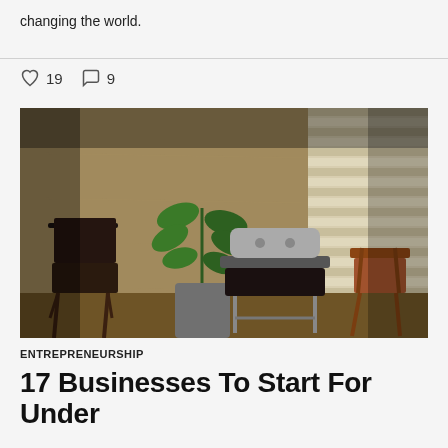changing the world.
♡ 19   ○ 9
[Figure (photo): Interior photo showing three chairs and a potted plant against a concrete wall and slatted wall background, warmly lit.]
ENTREPRENEURSHIP
17 Businesses To Start For Under